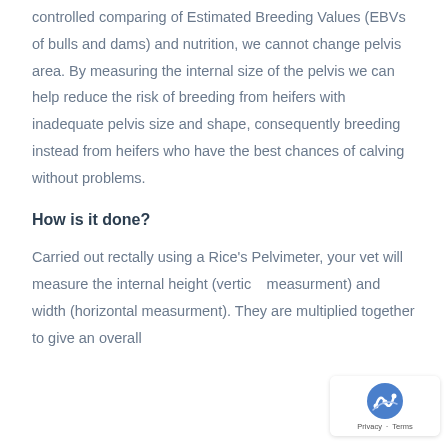controlled comparing of Estimated Breeding Values (EBVs of bulls and dams) and nutrition, we cannot change pelvis area. By measuring the internal size of the pelvis we can help reduce the risk of breeding from heifers with inadequate pelvis size and shape, consequently breeding instead from heifers who have the best chances of calving without problems.
How is it done?
Carried out rectally using a Rice's Pelvimeter, your vet will measure the internal height (vertical measurment) and width (horizontal measurment). They are multiplied together to give an overall